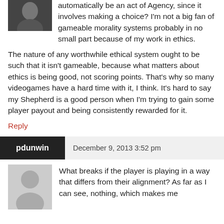automatically be an act of Agency, since it involves making a choice? I'm not a big fan of gameable morality systems probably in no small part because of my work in ethics.
The nature of any worthwhile ethical system ought to be such that it isn't gameable, because what matters about ethics is being good, not scoring points. That's why so many videogames have a hard time with it, I think. It's hard to say my Shepherd is a good person when I'm trying to gain some player payout and being consistently rewarded for it.
Reply
pdunwin   December 9, 2013 3:52 pm
What breaks if the player is playing in a way that differs from their alignment? As far as I can see, nothing, which makes me